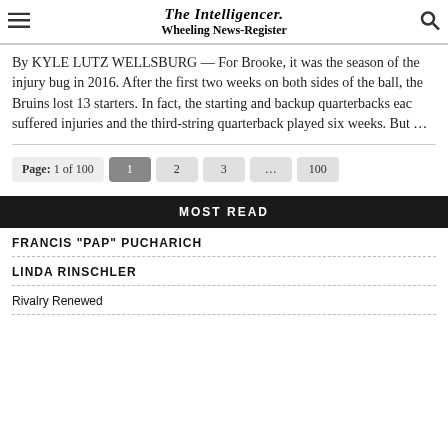The Intelligencer. Wheeling News-Register
By KYLE LUTZ WELLSBURG — For Brooke, it was the season of the injury bug in 2016. After the first two weeks on both sides of the ball, the Bruins lost 13 starters. In fact, the starting and backup quarterbacks eac suffered injuries and the third-string quarterback played six weeks. But ...
Page: 1 of 100  1  2  3  ...  100
MOST READ
FRANCIS "PAP" PUCHARICH
LINDA RINSCHLER
Rivalry Renewed